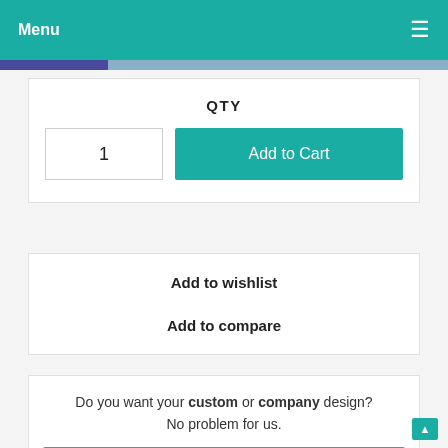Menu
QTY
1
Add to Cart
Add to wishlist
Add to compare
Do you want your custom or company design? No problem for us.
More info about custom design